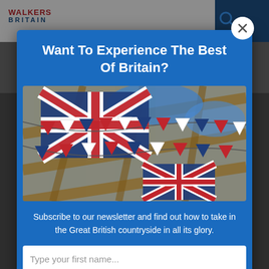WALKERS BRITAIN
Want To Experience The Best Of Britain?
[Figure (photo): Photo of Union Jack flags and red, white and blue bunting hanging from wooden beams in a market hall or covered arcade.]
Subscribe to our newsletter and find out how to take in the Great British countryside in all its glory.